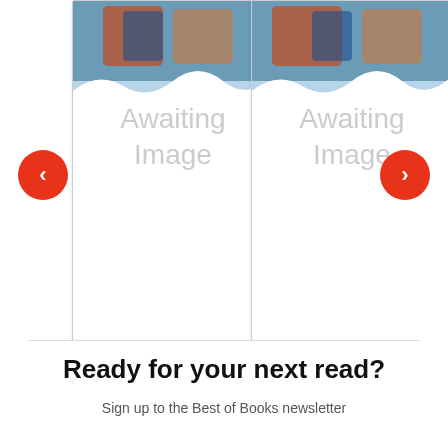[Figure (screenshot): Book carousel showing two book cards with placeholder images. Left card: 'When I'm a Firefighter'. Right card (partially visible): 'Stegosaurus'. Red navigation arrows on left and right sides.]
When I'm a Firefighter
Stegosaurus
Ready for your next read?
Sign up to the Best of Books newsletter